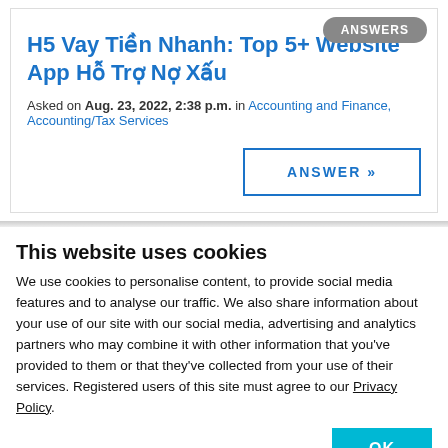H5 Vay Tiền Nhanh: Top 5+ Website App Hỗ Trợ Nợ Xấu
Asked on Aug. 23, 2022, 2:38 p.m. in Accounting and Finance, Accounting/Tax Services
This website uses cookies
We use cookies to personalise content, to provide social media features and to analyse our traffic. We also share information about your use of our site with our social media, advertising and analytics partners who may combine it with other information that you've provided to them or that they've collected from your use of their services. Registered users of this site must agree to our Privacy Policy.